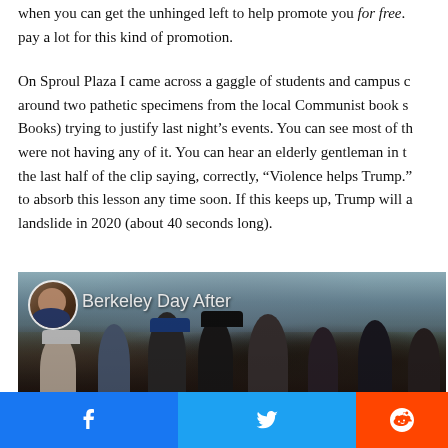when you can get the unhinged left to help promote you for free. pay a lot for this kind of promotion.
On Sproul Plaza I came across a gaggle of students and campus c around two pathetic specimens from the local Communist book s Books) trying to justify last night's events. You can see most of th were not having any of it. You can hear an elderly gentleman in th the last half of the clip saying, correctly, “Violence helps Trump.” to absorb this lesson any time soon. If this keeps up, Trump will a landslide in 2020 (about 40 seconds long).
[Figure (screenshot): Video thumbnail titled 'Berkeley Day After' showing a crowd of students and people on a plaza, with a circular avatar of a man in the top left corner.]
[Figure (other): Social media share bar with Facebook (blue), Twitter (light blue), and Reddit (orange-red) buttons.]